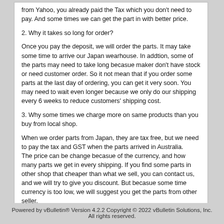from Yahoo, you already paid the Tax which you don't need to pay. And some times we can get the part in with better price.
2. Why it takes so long for order?
Once you pay the deposit, we will order the parts. It may take some time to arrive our Japan wearhouse. In addtion, some of the parts may need to take long becasue maker don't have stock or need customer order. So it not mean that if you order some parts at the last day of ordering, you can get it very soon. You may need to wait even longer because we only do our shipping every 6 weeks to reduce customers' shipping cost.
3. Why some times we charge more on same products than you buy from local shop.
When we order parts from Japan, they are tax free, but we need to pay the tax and GST when the parts arrived in Australia.
The price can be change becasue of the currency, and how many parts we get in every shipping. If you find some parts in other shop that cheaper than what we sell, you can contact us, and we will try to give you discount. But becasue some time currency is too low, we will suggest you get the parts from other seller.
If you have any other question about Japan, please feel free to contact us via phone, Email or PM, I will try to answer you ASAP.
Thanks
Regrads
Nic
Powered by vBulletin® Version 4.2.2 Copyright © 2022 vBulletin Solutions, Inc. All rights reserved.